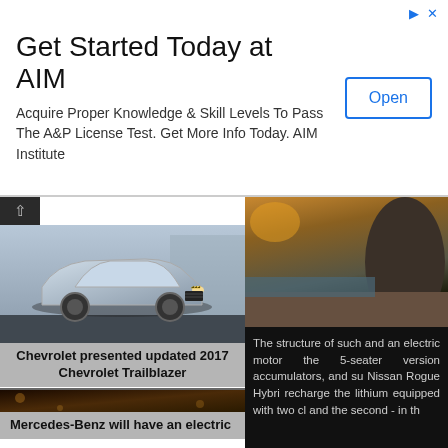[Figure (other): Advertisement banner for AIM Institute]
Get Started Today at AIM
Acquire Proper Knowledge & Skill Levels To Pass The A&P License Test. Get More Info Today. AIM Institute
[Figure (photo): Photo of a silver Chevrolet Trailblazer SUV driving on a road]
Chevrolet presented updated 2017 Chevrolet Trailblazer
[Figure (photo): Photo of a silver Mercedes-Benz electric concept car]
Mercedes-Benz will have an electric
[Figure (photo): Sunset coastal scene with rock and sandy beach]
The structure of such and an electric motor the 5-seater version accumulators, and su Nissan Rogue Hybri recharge the lithium equipped with two cl and the second - in th